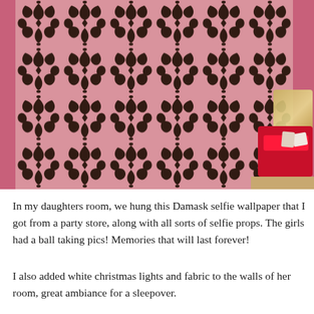[Figure (photo): A bedroom with pink walls featuring a large black and pink Damask patterned selfie wallpaper hung on the wall. On the right side there is a glittery lamp and a red basket/container with items in it on a shelf or surface.]
In my daughters room, we hung this Damask selfie wallpaper that I got from a party store, along with all sorts of selfie props. The girls had a ball taking pics! Memories that will last forever!
I also added white christmas lights and fabric to the walls of her room, great ambiance for a sleepover.